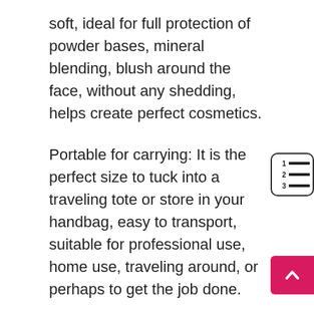soft, ideal for full protection of powder bases, mineral blending, blush around the face, without any shedding, helps create perfect cosmetics.
Portable for carrying: It is the perfect size to tuck into a traveling tote or store in your handbag, easy to transport, suitable for professional use, home use, traveling around, or perhaps to get the job done.
Buying Guide
The principles for selecting makeup brushes aren't that strict — they're similar to guidelines. In ge a blush brush is a medium-sized complexion brush